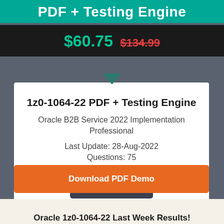PDF + Testing Engine
$60.75  $134.99
1z0-1064-22 PDF + Testing Engine
Oracle B2B Service 2022 Implementation Professional
Last Update: 28-Aug-2022
Questions: 75
Buy Now
Download PDF Demo
Oracle 1z0-1064-22 Last Week Results!